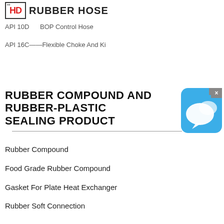HD RUBBER HOSE
API 10D    BOP Control Hose
API 16C——Flexible Choke And Ki
RUBBER COMPOUND AND RUBBER-PLASTIC SEALING PRODUCT
[Figure (other): Chat widget icon - blue rounded square with speech bubble icon and an X close button]
Rubber Compound
Food Grade Rubber Compound
Gasket For Plate Heat Exchanger
Rubber Soft Connection